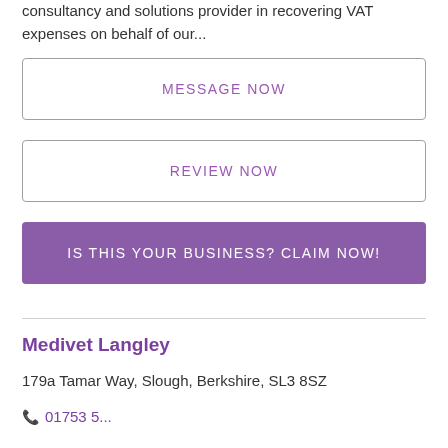consultancy and solutions provider in recovering VAT expenses on behalf of our...
MESSAGE NOW
REVIEW NOW
IS THIS YOUR BUSINESS? CLAIM NOW!
Medivet Langley
179a Tamar Way, Slough, Berkshire, SL3 8SZ
01753 5...